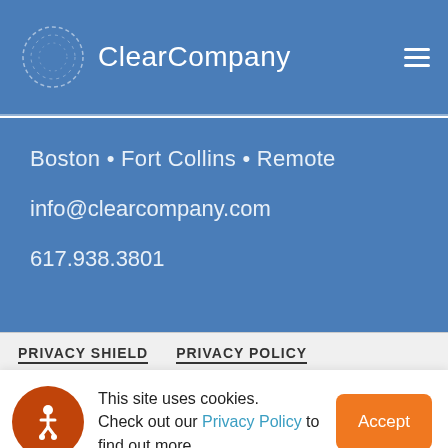ClearCompany
Boston • Fort Collins • Remote
info@clearcompany.com
617.938.3801
PRIVACY SHIELD   PRIVACY POLICY
This site uses cookies. Check out our Privacy Policy to find out more.